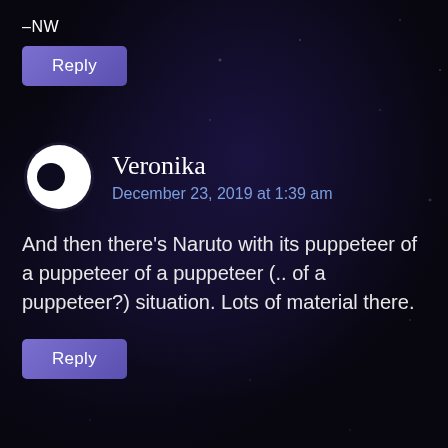–NW
Reply
Veronika
December 23, 2019 at 1:39 am
And then there's Naruto with its puppeteer of a puppeteer of a puppeteer (.. of a puppeteer?) situation. Lots of material there.
Reply